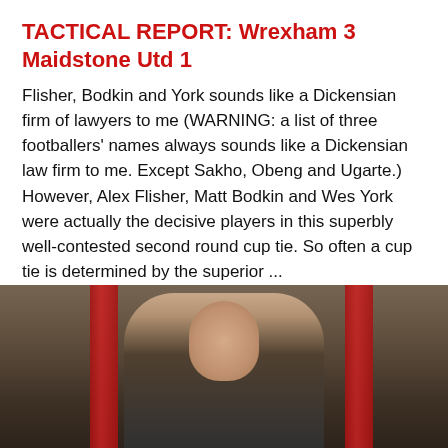TACTICAL REPORT: Wrexham 3 Maidstone Utd 1
Flisher, Bodkin and York sounds like a Dickensian firm of lawyers to me (WARNING: a list of three footballers' names always sounds like a Dickensian law firm to me. Except Sakho, Obeng and Ugarte.) However, Alex Flisher, Matt Bodkin and Wes York were actually the decisive players in this superbly well-contested second round cup tie. So often a cup tie is determined by the superior ...
Continue reading
MARK GRIFFITHS / DECEMBER 7, 2014 / LEAVE A COMMENT
[Figure (photo): Photograph of a person in a dark tracksuit/jacket, with red goalposts visible in the background. The image is partially visible at the bottom of the page.]